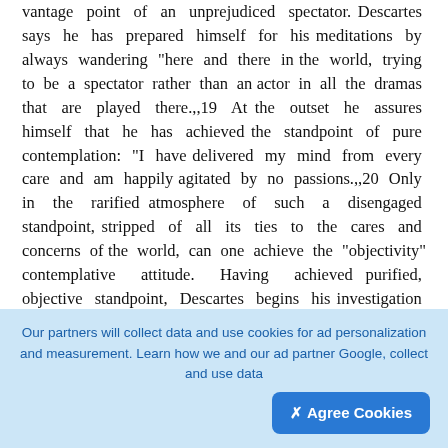vantage point of an unprejudiced spectator. Descartes says he has prepared himself for his meditations by always wandering "here and there in the world, trying to be a spectator rather than an actor in all the dramas that are played there."19 At the outset he assures himself that he has achieved the standpoint of pure contemplation: "I have delivered my mind from every care and am happily agitated by no passions."20 Only in the rarified atmosphere of such a disengaged standpoint, stripped of all its ties to the cares and concerns of the world, can one achieve the "objectivity" contemplative attitude. Having achieved purified, objective standpoint, Descartes begins his investigation into the true sources of understanding. It will be helpful to divide this
[Figure (other): Upload/add button - dark rounded square with a circle and upward arrow icon]
Our partners will collect data and use cookies for ad personalization and measurement. Learn how we and our ad partner Google, collect and use data
✕ Agree Cookies